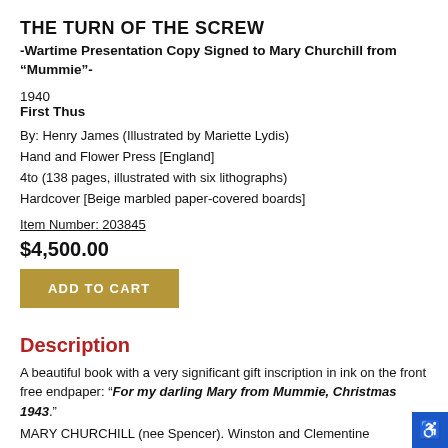THE TURN OF THE SCREW
-Wartime Presentation Copy Signed to Mary Churchill from “Mummie”-
1940
First Thus
By: Henry James (Illustrated by Mariette Lydis)
Hand and Flower Press [England]
4to (138 pages, illustrated with six lithographs)
Hardcover [Beige marbled paper-covered boards]
Item Number: 203845
$4,500.00
ADD TO CART
Description
A beautiful book with a very significant gift inscription in ink on the front free endpaper: “For my darling Mary from Mummie, Christmas 1943.”
MARY CHURCHILL (nee Spencer). Winston and Clementine...